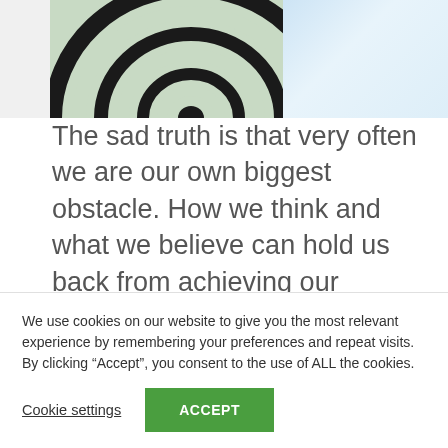[Figure (photo): Partial view of a spiral/target pattern in black and green on the left, and a blue sky on the right]
The sad truth is that very often we are our own biggest obstacle. How we think and what we believe can hold us back from achieving our dreams as much as any external roadblock. When it comes to hindering your progress, one of the biggest culprits is
We use cookies on our website to give you the most relevant experience by remembering your preferences and repeat visits. By clicking “Accept”, you consent to the use of ALL the cookies.